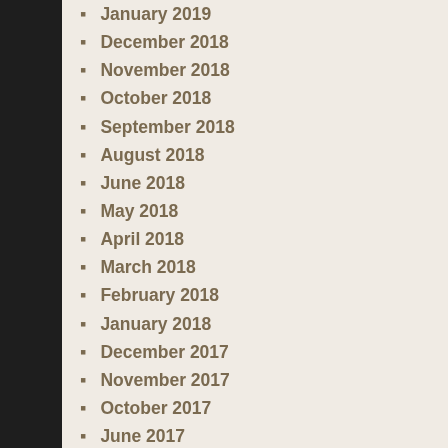January 2019
December 2018
November 2018
October 2018
September 2018
August 2018
June 2018
May 2018
April 2018
March 2018
February 2018
January 2018
December 2017
November 2017
October 2017
June 2017
May 2017
April 2017
March 2017
January 2017
November 2016
October 2016